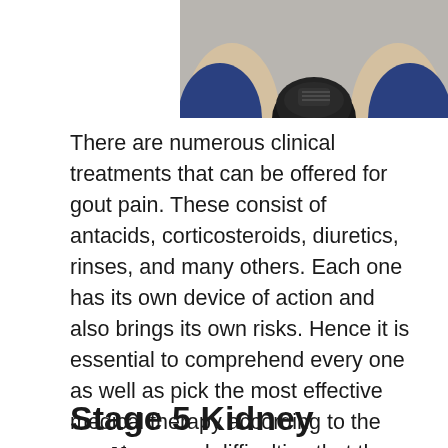[Figure (photo): Photo showing hands and feet of a person sitting on the ground, wearing blue sleeves and dark shoes, viewed from above]
There are numerous clinical treatments that can be offered for gout pain. These consist of antacids, corticosteroids, diuretics, rinses, and many others. Each one has its own device of action and also brings its own risks. Hence it is essential to comprehend every one as well as pick the most effective medical therapy according to the symptoms and difficulties that the individual is experiencing. Lots of people have uncovered that the best means to treat their gout includes using different natural self-management approaches.
Stage 5 Kidney Failure Gout